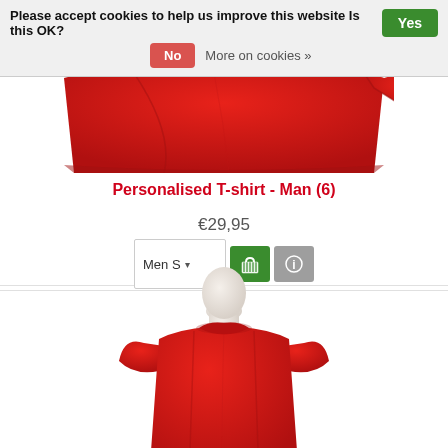Please accept cookies to help us improve this website Is this OK?
No
More on cookies »
[Figure (photo): Red t-shirt bottom/hem portion on white background, cropped]
Personalised T-shirt - Man (6)
€29,95
Men S ▾
[Figure (photo): White mannequin torso wearing a red crew-neck t-shirt, product photo]